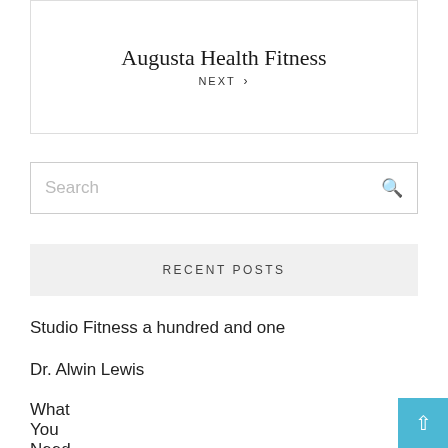Augusta Health Fitness
NEXT >
Search
RECENT POSTS
Studio Fitness a hundred and one
Dr. Alwin Lewis
What You Need to Know About Intrauterine Insomination?